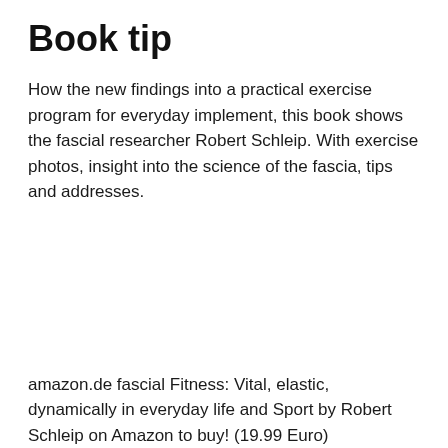Book tip
How the new findings into a practical exercise program for everyday implement, this book shows the fascial researcher Robert Schleip. With exercise photos, insight into the science of the fascia, tips and addresses.
amazon.de fascial Fitness: Vital, elastic, dynamically in everyday life and Sport by Robert Schleip on Amazon to buy! (19.99 Euro)